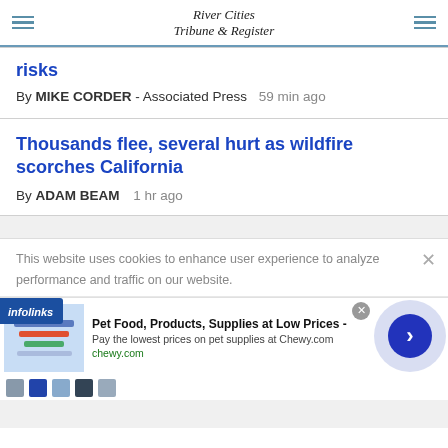River Cities Tribune & Register
risks
By MIKE CORDER - Associated Press   59 min ago
Thousands flee, several hurt as wildfire scorches California
By ADAM BEAM   1 hr ago
This website uses cookies to enhance user experience to analyze performance and traffic on our website.
[Figure (screenshot): Infolinks advertisement banner and Chewy.com pet supplies ad with arrow navigation bubble]